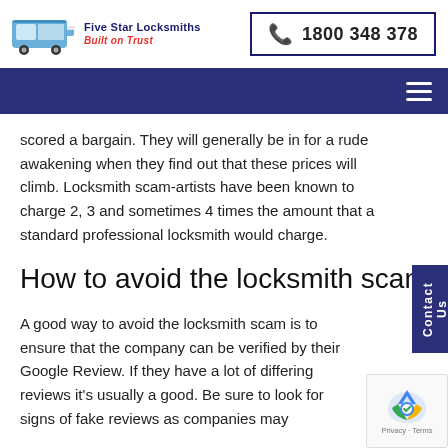[Figure (logo): Five Star Locksmiths logo with van image, company name and tagline 'Built on Trust']
[Figure (other): Phone number box with phone icon: 1800 348 378]
[Figure (other): Dark blue navigation bar with hamburger menu icon]
scored a bargain.  They will generally be in for a rude awakening when they find out that these prices will climb.  Locksmith scam-artists have been known to charge 2, 3 and sometimes 4 times the amount that a standard professional locksmith would charge.
How to avoid the locksmith scam
A good way to avoid the locksmith scam is to ensure that the company can be verified by their Google Review. If they have a lot of differing reviews it's usually a good. Be sure to look for signs of fake reviews as companies may